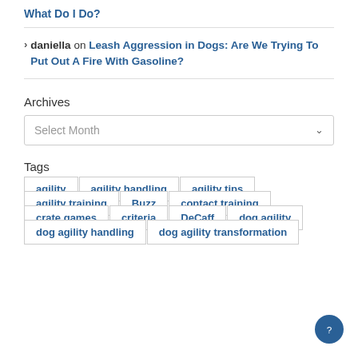What Do I Do?
daniella on Leash Aggression in Dogs: Are We Trying To Put Out A Fire With Gasoline?
Archives
Select Month
Tags
agility
agility handling
agility tips
agility training
Buzz
contact training
crate games
criteria
DeCaff
dog agility
dog agility handling
dog agility transformation